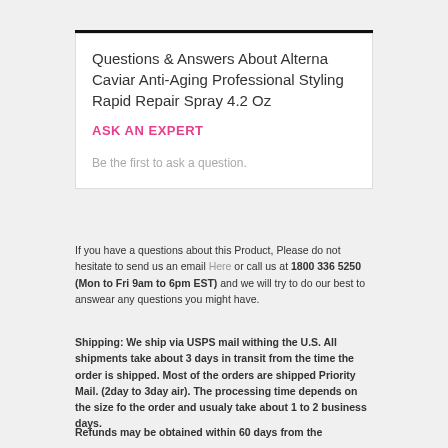Questions & Answers About Alterna Caviar Anti-Aging Professional Styling Rapid Repair Spray 4.2 Oz
ASK AN EXPERT
Be the first to ask a question.
If you have a questions about this Product, Please do not hesitate to send us an email Here or call us at 1800 336 5250 (Mon to Fri 9am to 6pm EST) and we will try to do our best to answear any questions you might have.
Shipping: We ship via USPS mail withing the U.S. All shipments take about 3 days in transit from the time the order is shipped. Most of the orders are shipped Priority Mail. (2day to 3day air). The processing time depends on the size fo the order and usualy take about 1 to 2 business days.
Refunds may be obtained within 60 days from the